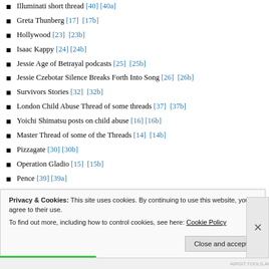Illuminati short thread [40] [40a]
Greta Thunberg [17] [17b]
Hollywood [23] [23b]
Isaac Kappy [24] [24b]
Jessie Age of Betrayal podcasts [25] [25b]
Jessie Czebotar Silence Breaks Forth Into Song [26] [26b]
Survivors Stories [32] [32b]
London Child Abuse Thread of some threads [37] [37b]
Yoichi Shimatsu posts on child abuse [16] [16b]
Master Thread of some of the Threads [14] [14b]
Pizzagate [30] [30b]
Operation Gladio [15] [15b]
Pence [39] [39a]
Cannibal Club Belenoff thread [36] [36a]
Privacy & Cookies: This site uses cookies. By continuing to use this website, you agree to their use.
To find out more, including how to control cookies, see here: Cookie Policy